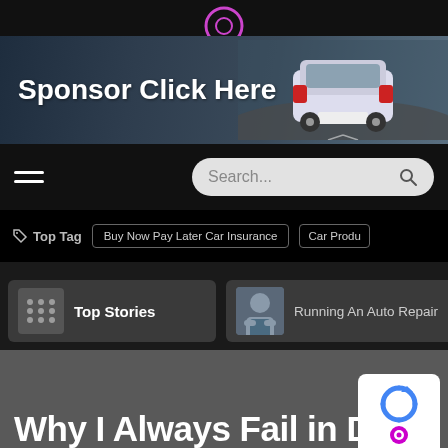[Figure (screenshot): Website screenshot showing a car blog/auto website navigation with sponsor banner, search bar, top tags, stories, and article title]
[Figure (photo): Sponsor banner advertisement with white car driving on road with text 'Sponsor Click Here']
Sponsor Click Here
☰  Search...
🏷 Top Tag   Buy Now Pay Later Car Insurance   Car Produ
Top Stories
Running An Auto Repair
Why I Always Fail in Dat